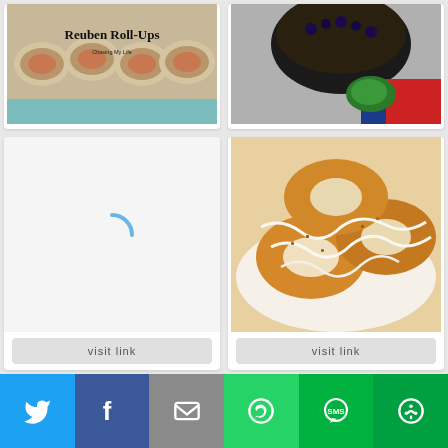[Figure (photo): Reuben Roll-Ups food photo with text overlay saying 'Reuben Roll-Ups Chasing My Life']
visit link
REUBEN TORTILLA PINWHEELS
[Figure (photo): Dutch Baby With Blueberries food photo showing a dark baked pancake with colorful fabric]
visit link
Dutch Baby With Blueberries
[Figure (other): Loading spinner icon on grey background]
visit link
[Figure (photo): Glazed donuts with white icing drizzle on a plate]
visit link
[Figure (infographic): Social share bar with Twitter, Facebook, Email, WhatsApp, SMS, and More buttons]